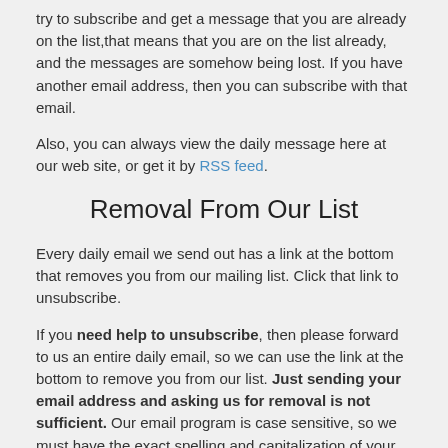try to subscribe and get a message that you are already on the list,that means that you are on the list already, and the messages are somehow being lost. If you have another email address, then you can subscribe with that email.
Also, you can always view the daily message here at our web site, or get it by RSS feed.
Removal From Our List
Every daily email we send out has a link at the bottom that removes you from our mailing list. Click that link to unsubscribe.
If you need help to unsubscribe, then please forward to us an entire daily email, so we can use the link at the bottom to remove you from our list. Just sending your email address and asking us for removal is not sufficient. Our email program is case sensitive, so we must have the exact spelling and capitalization of your email address as you entered it when you subscribed.
We understand why some might hesitate to click on a link that says it will remove you from a list, because of those sending out millions of spam emails with a fake unsubscribe link. Our links are real and work instantly, but we will gladly click the link for you if you will just